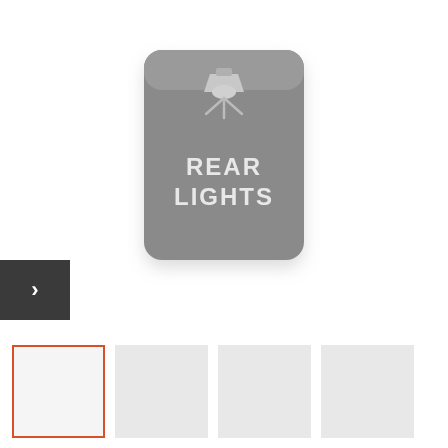[Figure (photo): A gray push switch button with a rear lights (bar light) symbol icon at the top and white text reading 'REAR LIGHTS' in the center, shown on white background. The button has rounded corners and a slight shadow.]
[Figure (other): Navigation arrow button (dark gray background with white right-pointing chevron arrow)]
[Figure (other): Thumbnail gallery strip with 4 thumbnail images; first thumbnail is active with an orange-red border, remaining three are light gray placeholder boxes]
CH4x4 Push Switch for Toyota – Rear Lights Symbol